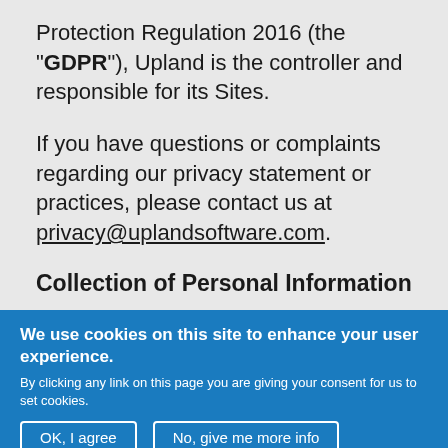Protection Regulation 2016 (the "GDPR"), Upland is the controller and responsible for its Sites.
If you have questions or complaints regarding our privacy statement or practices, please contact us at privacy@uplandsoftware.com.
Collection of Personal Information
We use cookies on this site to enhance your user experience.
By clicking any link on this page you are giving your consent for us to set cookies.